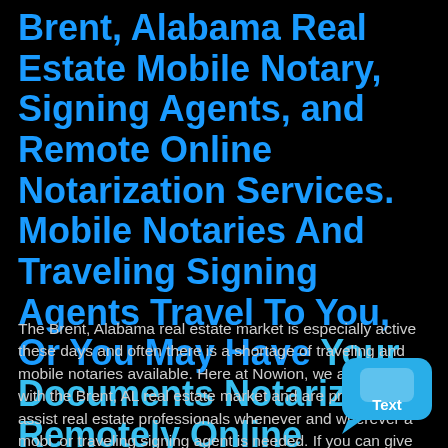Brent, Alabama Real Estate Mobile Notary, Signing Agents, and Remote Online Notarization Services. Mobile Notaries And Traveling Signing Agents Travel To You, Or You May Have Your Documents Notarized Remotely Online
The Brent, Alabama real estate market is especially active these days and often there is a shortage of traveling and mobile notaries available. Here at Nowion, we are familiar with the Brent, AL real estate market and are prepared to assist real estate professionals whenever and wherever a mobile or traveling signing agent is needed. If you can give us twenty-four hour notice for an appointment, we guarantee to have a